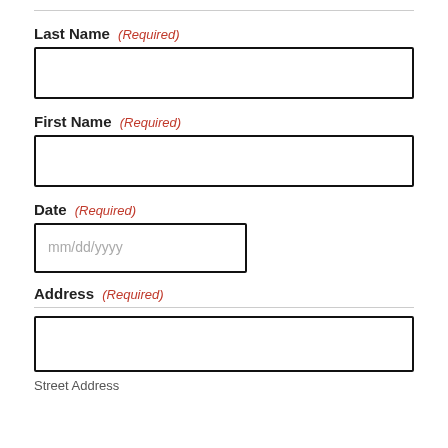Last Name (Required)
First Name (Required)
Date (Required)
Address (Required)
Street Address